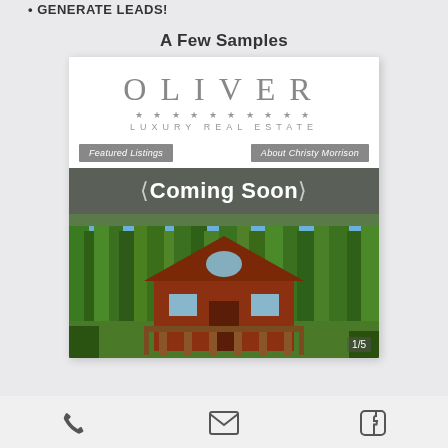GENERATE LEADS!
A Few Samples
[Figure (screenshot): Screenshot of Oliver Luxury Real Estate website showing a 'Coming Soon' listing with a red cabin house surrounded by tall pine trees. Navigation buttons 'Featured Listings' and 'About Christy Morrison' are shown, with a slide indicator '1/5'.]
Phone | Email | Facebook icons